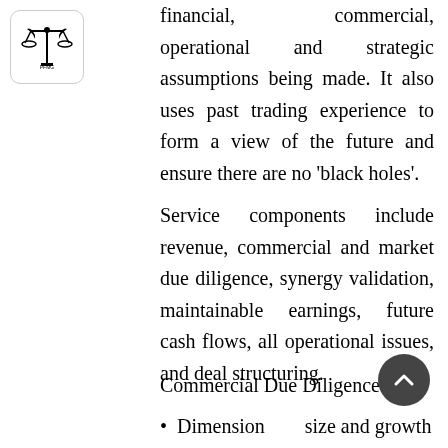[Figure (logo): Company logo with scales/balance symbol in a rounded rectangle border]
financial, commercial, operational and strategic assumptions being made. It also uses past trading experience to form a view of the future and ensure there are no 'black holes'.
Service components include revenue, commercial and market due diligence, synergy validation, maintainable earnings, future cash flows, all operational issues, and deal structuring.
Commercial Due Diligence
Dimension [size and growth